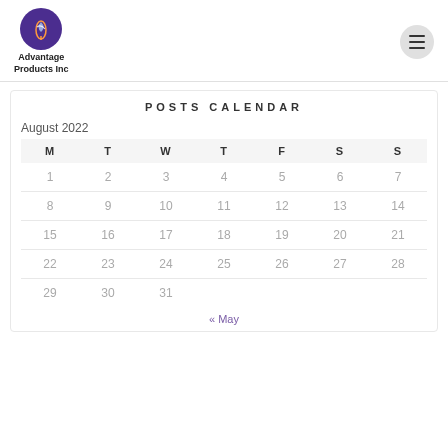[Figure (logo): Advantage Products Inc circular purple logo with leaf/plant icon]
Advantage Products Inc
POSTS CALENDAR
August 2022
| M | T | W | T | F | S | S |
| --- | --- | --- | --- | --- | --- | --- |
| 1 | 2 | 3 | 4 | 5 | 6 | 7 |
| 8 | 9 | 10 | 11 | 12 | 13 | 14 |
| 15 | 16 | 17 | 18 | 19 | 20 | 21 |
| 22 | 23 | 24 | 25 | 26 | 27 | 28 |
| 29 | 30 | 31 |  |  |  |  |
« May